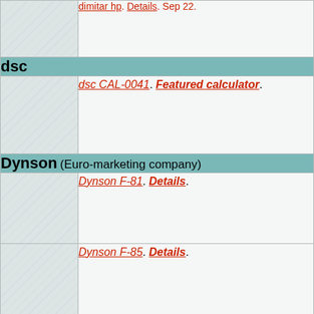dsc CAL-0041. Featured calculator.
dsc
dsc CAL-0041. Featured calculator.
Dynson (Euro-marketing company)
Dynson F-81. Details.
Dynson F-85. Details.